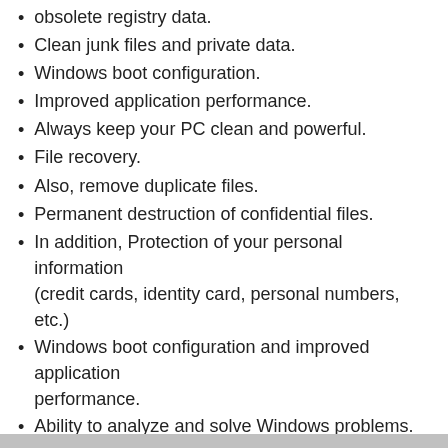obsolete registry data.
Clean junk files and private data.
Windows boot configuration.
Improved application performance.
Always keep your PC clean and powerful.
File recovery.
Also, remove duplicate files.
Permanent destruction of confidential files.
In addition, Protection of your personal information (credit cards, identity card, personal numbers, etc.)
Windows boot configuration and improved application performance.
Ability to analyze and solve Windows problems.
Ability to clean unwanted files.
Optimize system performance.
Speed up the system.
Optimize computer shutdown / restart speed.
Protect user privacy on the Internet.